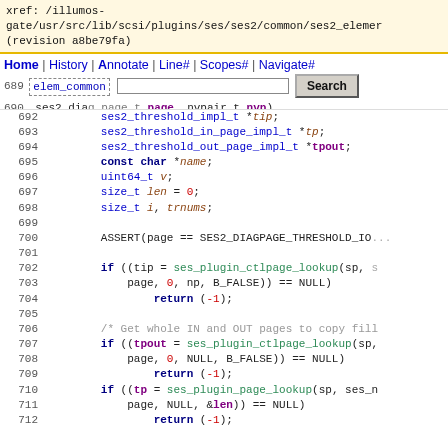xref: /illumos-gate/usr/src/lib/scsi/plugins/ses/ses2/common/ses2_elemer (revision a8be79fa)
Home | History | Annotate | Line# | Scopes# | Navigate#
689 static int
689 elem_common
690 ses2_diag_page_t page, nvpair_t nvp)
691 current directory
692   ses2_threshold_impl_t *tip;
693   ses2_threshold_in_page_impl_t *tp;
694   ses2_threshold_out_page_impl_t *tpout;
695   const char *name;
696   uint64_t v;
697   size_t len = 0;
698   size_t i, trnums;
699
700   ASSERT(page == SES2_DIAGPAGE_THRESHOLD_IO
701
702   if ((tip = ses_plugin_ctlpage_lookup(sp, s
703       page, 0, np, B_FALSE)) == NULL)
704           return (-1);
705
706   /* Get whole IN and OUT pages to copy fill
707   if ((tpout = ses_plugin_ctlpage_lookup(sp,
708       page, 0, NULL, B_FALSE)) == NULL)
709           return (-1);
710   if ((tp = ses_plugin_page_lookup(sp, ses_n
711       page, NULL, &len)) == NULL)
712           return (-1);